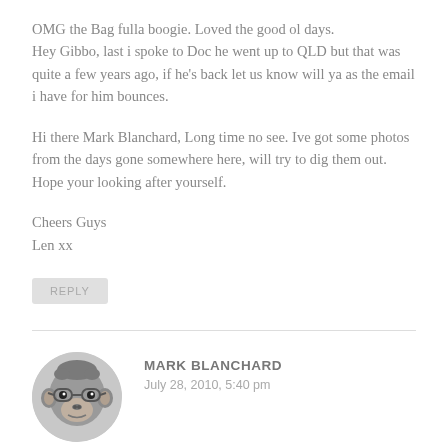OMG the Bag fulla boogie. Loved the good ol days.
Hey Gibbo, last i spoke to Doc he went up to QLD but that was quite a few years ago, if he's back let us know will ya as the email i have for him bounces.

Hi there Mark Blanchard, Long time no see. Ive got some photos from the days gone somewhere here, will try to dig them out. Hope your looking after yourself.

Cheers Guys
Len xx
REPLY
[Figure (photo): Circular avatar image of a chimpanzee wearing glasses, grayscale photo]
MARK BLANCHARD
July 28, 2010, 5:40 pm